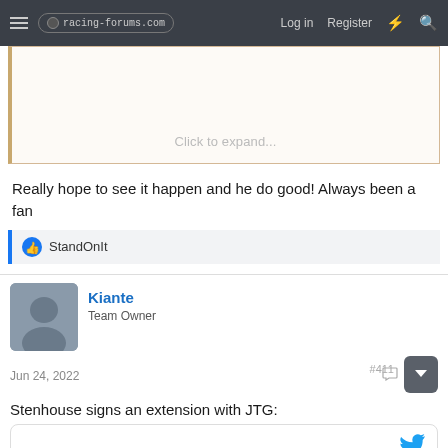racing-forums.com  Log in  Register
[Figure (screenshot): Collapsed quoted post with 'Click to expand...' button]
Really hope to see it happen and he do good! Always been a fan
StandOnIt
Kiante
Team Owner
Jun 24, 2022
Stenhouse signs an extension with JTG: